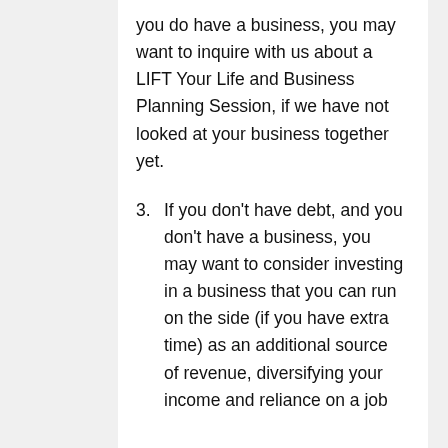you do have a business, you may want to inquire with us about a LIFT Your Life and Business Planning Session, if we have not looked at your business together yet.
3. If you don't have debt, and you don't have a business, you may want to consider investing in a business that you can run on the side (if you have extra time) as an additional source of revenue, diversifying your income and reliance on a job